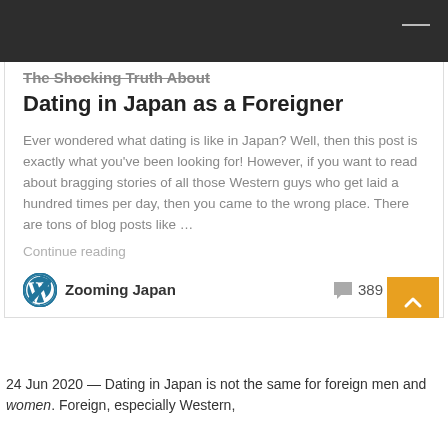The Shocking Truth About Dating in Japan as a Foreigner
Ever wondered what dating is like in Japan? Well, then this post is exactly what you've been looking for! However, if you want to read about bragging stories of all those Western guys who get laid a hundred times per day, then you came to the wrong place. There are tons of blog posts like …
Continue reading
Zooming Japan    389
24 Jun 2020 — Dating in Japan is not the same for foreign men and women. Foreign, especially Western,